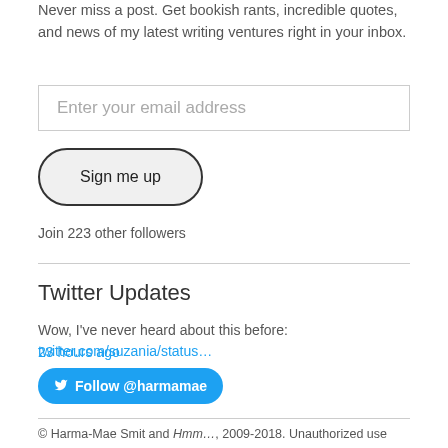Never miss a post. Get bookish rants, incredible quotes, and news of my latest writing ventures right in your inbox.
Enter your email address
Sign me up
Join 223 other followers
Twitter Updates
Wow, I've never heard about this before: twitter.com/suzania/status…
23 hours ago
Follow @harmamae
© Harma-Mae Smit and Hmm…, 2009-2018. Unauthorized use and/or duplication of this material without express and written permission from this blog's author and/or owner is strictly prohibited. Excerpts and links